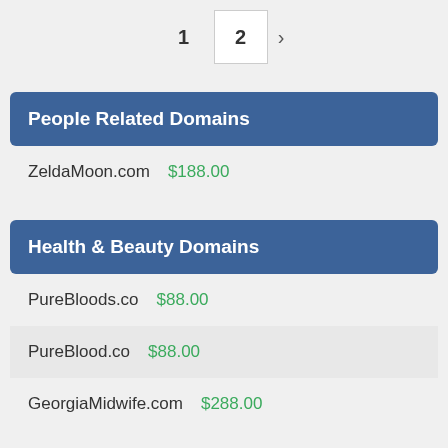1  2  >
People Related Domains
ZeldaMoon.com  $188.00
Health & Beauty Domains
PureBloods.co  $88.00
PureBlood.co  $88.00
GeorgiaMidwife.com  $288.00